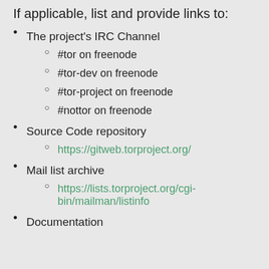If applicable, list and provide links to:
The project's IRC Channel
#tor on freenode
#tor-dev on freenode
#tor-project on freenode
#nottor on freenode
Source Code repository
https://gitweb.torproject.org/
Mail list archive
https://lists.torproject.org/cgi-bin/mailman/listinfo
Documentation